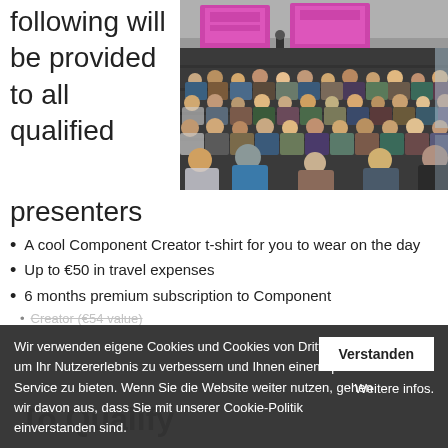following will be provided to all qualified
[Figure (photo): Large lecture hall filled with audience members from behind, presenter at front with projected slides on screens]
presenters
A cool Component Creator t-shirt for you to wear on the day
Up to €50 in travel expenses
6 months premium subscription to Component Creator (€54 value)
A free 30-minute (roughly) call to help you with any issue of Component Creator (if needed)
A custom 30% discount code that you can share with all attendees at your meetup
To Qualify
Wir verwenden eigene Cookies und Cookies von Drittanbietern, um Ihr Nutzererlebnis zu verbessern und Ihnen einen optimalen Service zu bieten. Wenn Sie die Website weiter nutzen, gehen wir davon aus, dass Sie mit unserer Cookie-Politik einverstanden sind.